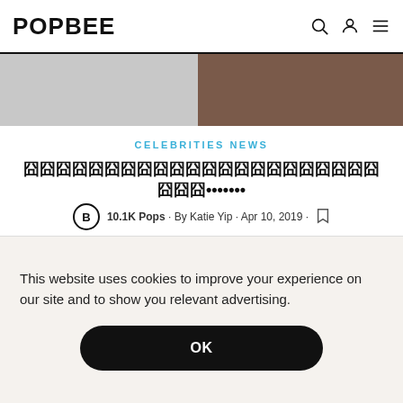POPBEE
[Figure (photo): Partial top hero image showing a person with light/blonde hair against a dark background, cropped at the top of the page]
CELEBRITIES NEWS
囧囧囧囧囧囧囧囧囧囧囧囧囧囧囧囧囧囧囧囧囧囧囧囧囧•••••••
10.1K Pops · By Katie Yip · Apr 10, 2019 ·
[Figure (photo): Two-panel article image: left panel shows solid orange/red background, right panel shows a person with blue-tipped blonde hair peeking from behind a metal security fence, with a yellow LPG warning sign visible]
This website uses cookies to improve your experience on our site and to show you relevant advertising.
OK